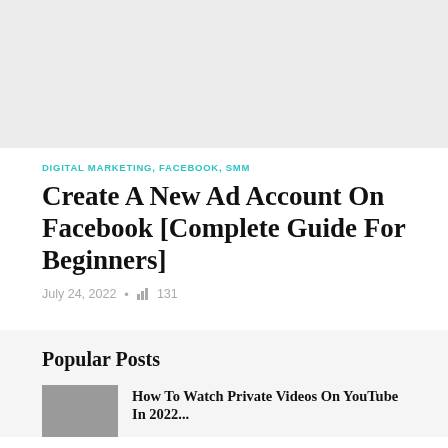[Figure (photo): Large placeholder image area at the top of the page, light gray background]
DIGITAL MARKETING, FACEBOOK, SMM
Create A New Ad Account On Facebook [Complete Guide For Beginners]
July 24, 2022 • 131
Popular Posts
How To Watch Private Videos On YouTube In 2022...